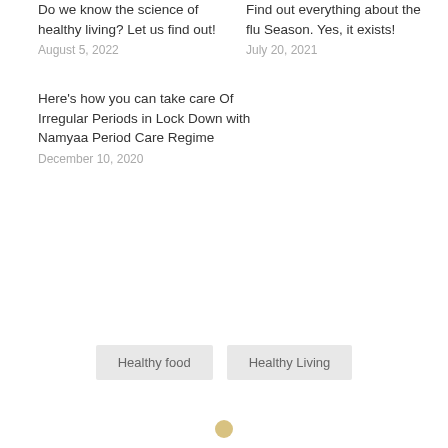Do we know the science of healthy living? Let us find out!
August 5, 2022
Find out everything about the flu Season. Yes, it exists!
July 20, 2021
Here's how you can take care Of Irregular Periods in Lock Down with Namyaa Period Care Regime
December 10, 2020
Healthy food
Healthy Living